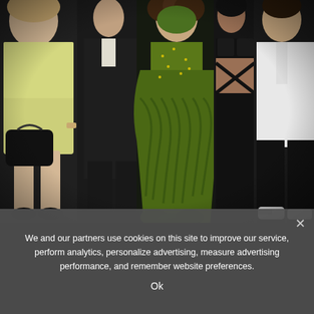[Figure (photo): Group photo of several people at what appears to be a formal or celebrity event. From left to right: a woman in a pale yellow mini dress holding a black bag, a person in a dark suit, a woman in an elaborate green feathered and sequined outfit wearing a green mask, a woman in a black strappy outfit showing midriff, and a man in a white shirt and black trousers. Dark background.]
We and our partners use cookies on this site to improve our service, perform analytics, personalize advertising, measure advertising performance, and remember website preferences.
Ok